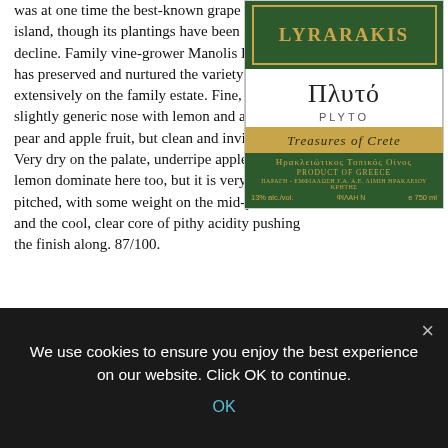was at one time the best-known grape of the island, though its plantings have been in steep decline. Family vine-grower Manolis Lyrarakis has preserved and nurtured the variety quite extensively on the family estate. Fine, if slightly generic nose with lemon and a touch of pear and apple fruit, but clean and inviting. Very dry on the palate, underripe apple and lemon dominate here too, but it is very nicely pitched, with some weight on the mid-palate and the cool, clear core of pithy acidity pushing the finish along. 87/100.
[Figure (photo): Lyrarakis Plyto wine bottle label showing green label with gold border and 'Treasures of Crete' band]
Domaine Lyrarakis, Assyrtiko Inox 2011, Greece
No oak here ('inox' means stainless steel tanks were used), in a
We use cookies to ensure you enjoy the best experience on our website. Click OK to continue.
OK